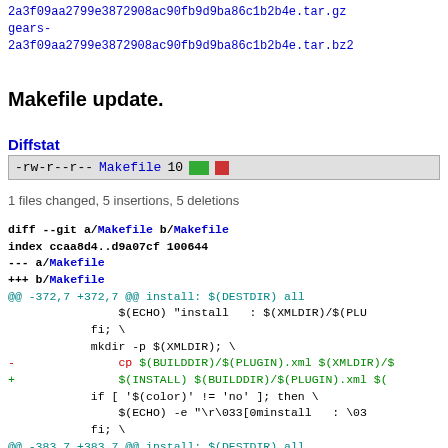2a3f09aa2799e3872908ac90fb9d9ba86c1b2b4e.tar.gz gears-2a3f09aa2799e3872908ac90fb9d9ba86c1b2b4e.tar.bz2
Makefile update.
Diffstat
-rw-r--r-- Makefile 10 [green bar][red bar]
1 files changed, 5 insertions, 5 deletions
diff --git a/Makefile b/Makefile
index ccaa8d4..d9a07cf 100644
--- a/Makefile
+++ b/Makefile
@@ -372,7 +372,7 @@ install: $(DESTDIR) all
                $(ECHO) "install   : $(XMLDIR)/$(PLU
            fi; \
            mkdir -p $(XMLDIR); \
-               cp $(BUILDDIR)/$(PLUGIN).xml $(XMLDIR)/$
+               $(INSTALL) $(BUILDDIR)/$(PLUGIN).xml $(
            if [ '$(color)' != 'no' ]; then \
                $(ECHO) -e "\r\033[0minstall   : \03
            fi; \
@@ -383,7 +383,7 @@ install: $(DESTDIR) all
            else \
                $(ECHO) "install   : $(CINCDIR)/comp
            fi; \